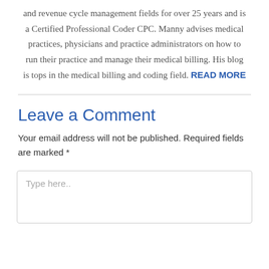and revenue cycle management fields for over 25 years and is a Certified Professional Coder CPC. Manny advises medical practices, physicians and practice administrators on how to run their practice and manage their medical billing. His blog is tops in the medical billing and coding field. READ MORE
Leave a Comment
Your email address will not be published. Required fields are marked *